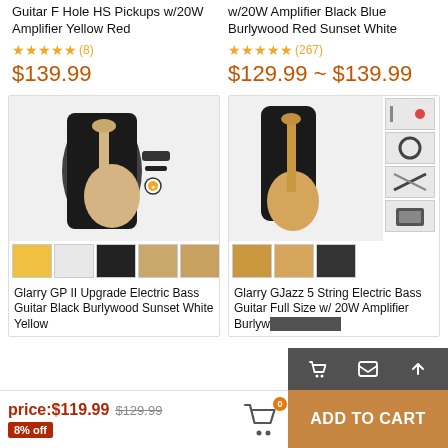Guitar F Hole HS Pickups w/20W Amplifier Yellow Red
★★★★★ (8)
$139.99
w/20W Amplifier Black Blue Burlywood Red Sunset White
★★★★★ (267)
$129.99 ~ $139.99
[Figure (photo): Glarry GP II Upgrade Electric Bass Guitar product image showing guitar, gig bag, and accessories, with color thumbnails below]
Glarry GP II Upgrade Electric Bass Guitar Black Burlywood Sunset White Yellow
[Figure (photo): Glarry GJazz 5 String Electric Bass Guitar Full Size w/ 20W Amplifier product image showing guitar, gig bag, and accessories thumbnails]
Glarry GJazz 5 String Electric Bass Guitar Full Size w/ 20W Amplifier Burlywood Transparent
price:$119.99 $129.99
8% off
ADD TO CART